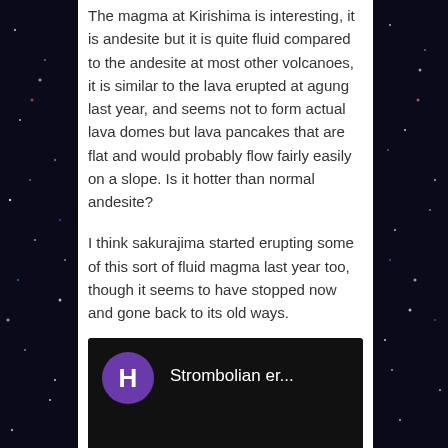The magma at Kirishima is interesting, it is andesite but it is quite fluid compared to the andesite at most other volcanoes, it is similar to the lava erupted at agung last year, and seems not to form actual lava domes but lava pancakes that are flat and would probably flow fairly easily on a slope. Is it hotter than normal andesite?
I think sakurajima started erupting some of this sort of fluid magma last year too, though it seems to have stopped now and gone back to its old ways.
[Figure (screenshot): Video thumbnail with purple avatar circle showing letter H and title text 'Strombolian er...' on dark background]